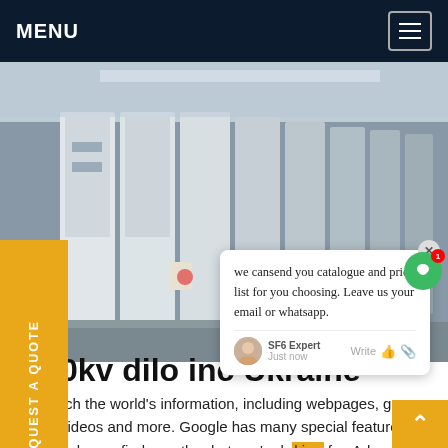MENU
[Figure (photo): Interior of an electrical switchgear room with rows of white and grey cabinet panels along a corridor]
REQUEST A QUOTE
we cansend you catalogue and price list for you choosing. Leave us your email or whatsapp.
0kv dilo inc Ukraine
rch the world's information, including webpages, ges, videos and more. Google has many special features to help you find exactly what you're looking for. Advertising Programs Business Solutions About Google GoogleGet price